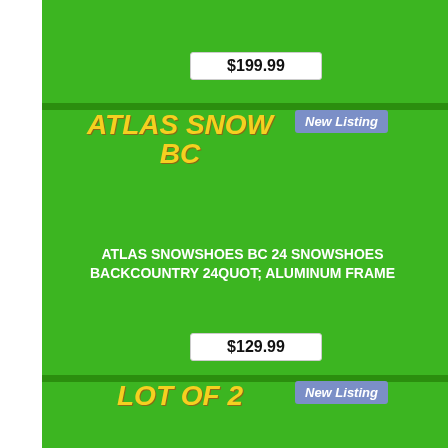$199.99
New Listing
ATLAS SNOWSHOES BC
ATLAS SNOWSHOES BC 24 SNOWSHOES BACKCOUNTRY 24QUOT; ALUMINUM FRAME
$129.99
New Listing
LOT OF 2
LOT OF 2 ATLAS SNOWSHOES FOR PARTS OR REPAIR *BROKEN BINDINGS*
$59.97
New Listing
ATLAS SNOW...